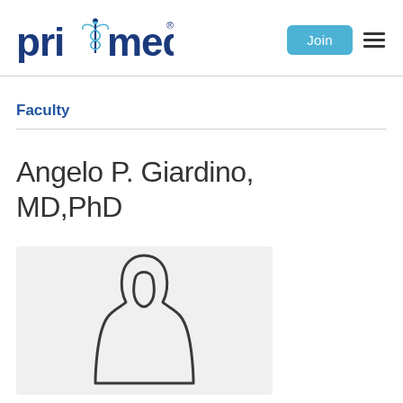[Figure (logo): pri-med logo with caduceus symbol and registered trademark]
Faculty
Angelo P. Giardino, MD,PhD
[Figure (photo): Placeholder profile silhouette image of a person on a light grey background]